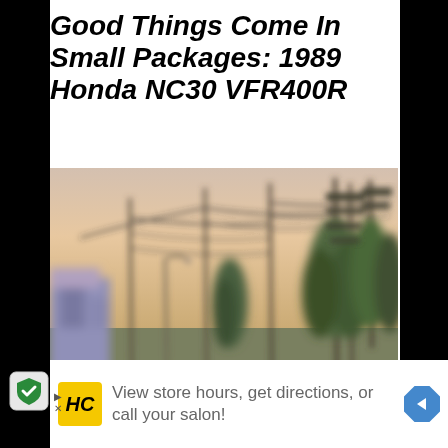Good Things Come In Small Packages: 1989 Honda NC30 VFR400R
[Figure (photo): Blurred outdoor street scene at dusk/dawn showing utility poles with power lines, trees, and buildings along a street, with a warm pinkish-orange sky]
View store hours, get directions, or call your salon!